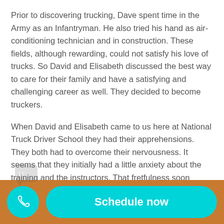Prior to discovering trucking, Dave spent time in the Army as an Infantryman. He also tried his hand as air-conditioning technician and in construction. These fields, although rewarding, could not satisfy his love of trucks. So David and Elisabeth discussed the best way to care for their family and have a satisfying and challenging career as well. They decided to become truckers.
When David and Elisabeth came to us here at National Truck Driver School they had their apprehensions. They both had to overcome their nervousness. It seems that they initially had a little anxiety about the training and the instructors. That fretfulness soon passed as our staff put them at ease with their knowledge and professionalism...
[Figure (screenshot): Bottom action bar with teal phone button circle on the left and a teal 'Schedule now' pill button on the right, on an orange/brown background]